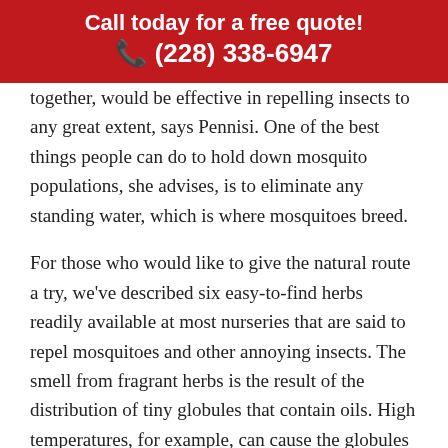Call today for a free quote!
☎ (228) 338-6947
together, would be effective in repelling insects to any great extent, says Pennisi. One of the best things people can do to hold down mosquito populations, she advises, is to eliminate any standing water, which is where mosquitoes breed.
For those who would like to give the natural route a try, we've described six easy-to-find herbs readily available at most nurseries that are said to repel mosquitoes and other annoying insects. The smell from fragrant herbs is the result of the distribution of tiny globules that contain oils. High temperatures, for example, can cause the globules to become volatile, evaporating the essential oils and turning them into vapors. Pennisi says. The many